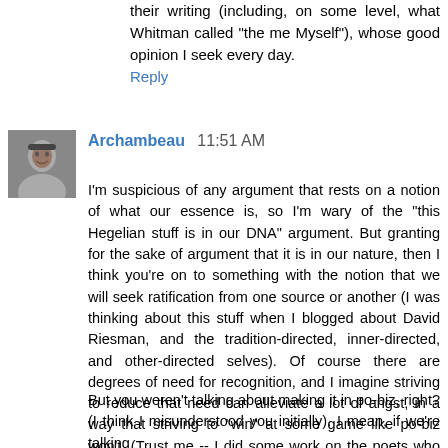their writing (including, on some level, what Whitman called "the me Myself"), whose good opinion I seek every day.
Reply
[Figure (photo): Avatar photo of commenter Archambeau, a man's face]
Archambeau  11:51 AM
I'm suspicious of any argument that rests on a notion of what our essence is, so I'm wary of the "this Hegelian stuff is in our DNA" argument. But granting for the sake of argument that it is in our nature, then I think you're on to something with the notion that we will seek ratification from one source or another (I was thinking about this stuff when I blogged about David Riesman, and the tradition-directed, inner-directed, and other-directed selves). Of course there are degrees of need for recognition, and I imagine striving to reduce that need can alleviate a lot of angst, in a way that striving to "win" at some game like po-biz won't. (Trust me -- I did some work on the poets who won all the prizes, and the hunger never gets satisfied).
But you weren't talking about making it in po-biz, right? (I think I misunderstood you initially). I mean, if we're talking